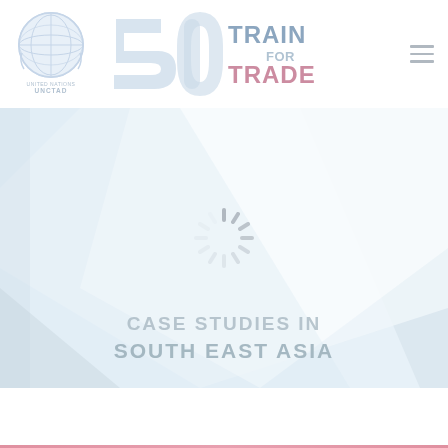[Figure (logo): UNCTAD United Nations logo — circular globe emblem with 'UNITED NATIONS UNCTAD' text below]
[Figure (logo): UNCTAD Train for Trade logo — stylized '5' shape with 'TRAIN FOR TRADE' text in blue and pink]
[Figure (illustration): Hero background image with light blue and white diagonal geometric shapes and a loading spinner in the center]
CASE STUDIES IN SOUTH EAST ASIA